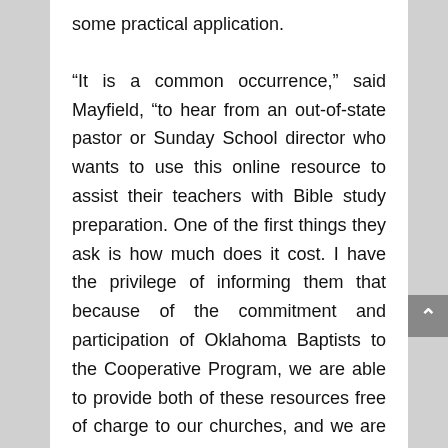some practical application.
“It is a common occurrence,” said Mayfield, “to hear from an out-of-state pastor or Sunday School director who wants to use this online resource to assist their teachers with Bible study preparation. One of the first things they ask is how much does it cost. I have the privilege of informing them that because of the commitment and participation of Oklahoma Baptists to the Cooperative Program, we are able to provide both of these resources free of charge to our churches, and we are happy to let them use the websites as well.”